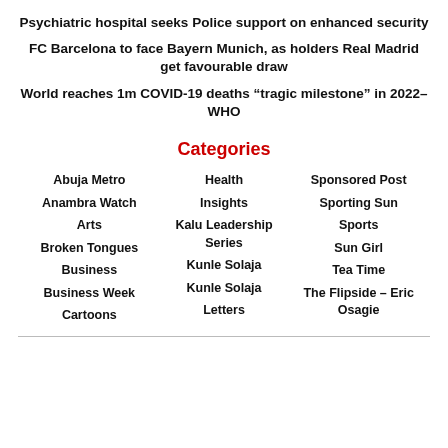Psychiatric hospital seeks Police support on enhanced security
FC Barcelona to face Bayern Munich, as holders Real Madrid get favourable draw
World reaches 1m COVID-19 deaths “tragic milestone” in 2022–WHO
Categories
Abuja Metro
Anambra Watch
Arts
Broken Tongues
Business
Business Week
Cartoons
Health
Insights
Kalu Leadership Series
Kunle Solaja
Kunle Solaja
Letters
Sponsored Post
Sporting Sun
Sports
Sun Girl
Tea Time
The Flipside – Eric Osagie